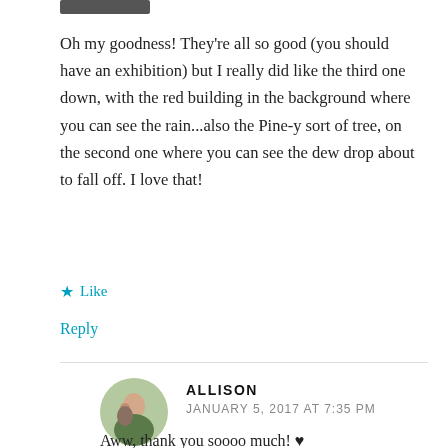[Figure (other): Dark horizontal bar/button at top]
Oh my goodness! They're all so good (you should have an exhibition) but I really did like the third one down, with the red building in the background where you can see the rain...also the Pine-y sort of tree, on the second one where you can see the dew drop about to fall off. I love that!
★ Like
Reply
ALLISON
JANUARY 5, 2017 AT 7:35 PM
Aww, thank you soooo much! ♥